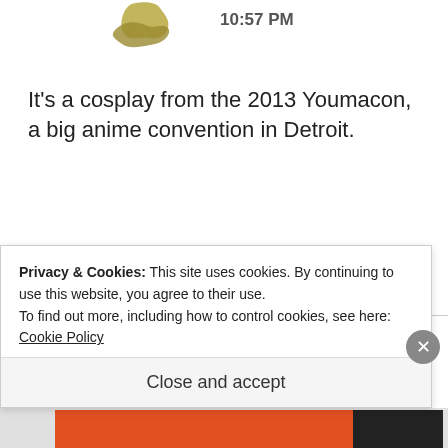[Figure (illustration): Partial golden/olive colored decorative logo or avatar in top left area]
10:57 PM
It's a cosplay from the 2013 Youmacon, a big anime convention in Detroit.
★ Liked by 1 person
REPLY
[Figure (photo): Circular avatar photo of a cat, partially visible]
Odd Prompts –
Privacy & Cookies: This site uses cookies. By continuing to use this website, you agree to their use.
To find out more, including how to control cookies, see here:
Cookie Policy
Close and accept